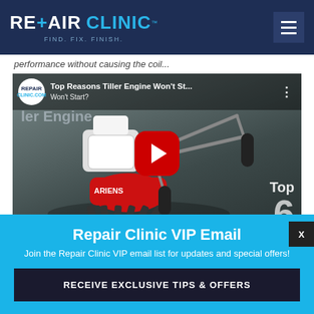REPAIR CLINIC — FIND. FIX. FINISH.
performance without causing the coil...
[Figure (screenshot): YouTube video thumbnail for 'Top Reasons Tiller Engine Won't Start?' showing a red tiller on a gray background with a large red play button, Repair Clinic logo, and 'Top 6' overlay text]
Repair Clinic VIP Email
Join the Repair Clinic VIP email list for updates and special offers!
RECEIVE EXCLUSIVE TIPS & OFFERS